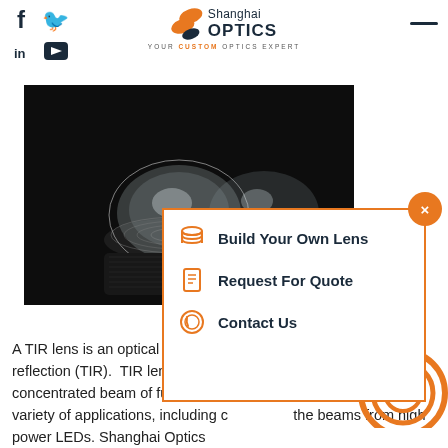[Figure (logo): Shanghai Optics logo with tagline YOUR CUSTOM OPTICS EXPERT]
[Figure (photo): TIR optical lenses on a dark background - transparent dome-shaped lenses]
[Figure (infographic): Popup panel with Build Your Own Lens, Request For Quote, Contact Us options]
A TIR lens is an optical lens built on the principal of total internal reflection (TIR). TIR lenses collimate light, sending out a concentrated beam of full intensity. They are used in a wide variety of applications, including collimating the beams from high power LEDs. Shanghai Optics